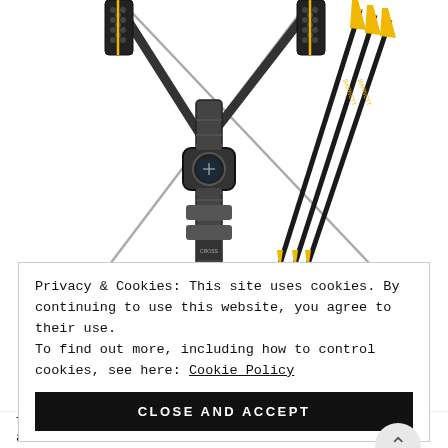[Figure (photo): Crossbow with scope and multiple arrows with yellow fletching and yellow tips, shown against a white background. The crossbow has a dark/black finish with honeycomb-pattern limb pockets. Brand text 'BARNETT' visible on arrows.]
Privacy & Cookies: This site uses cookies. By continuing to use this website, you agree to their use.
To find out more, including how to control cookies, see here: Cookie Policy
CLOSE AND ACCEPT
The OneSevenOne has 135 ft. lbs. kinetic energy and a